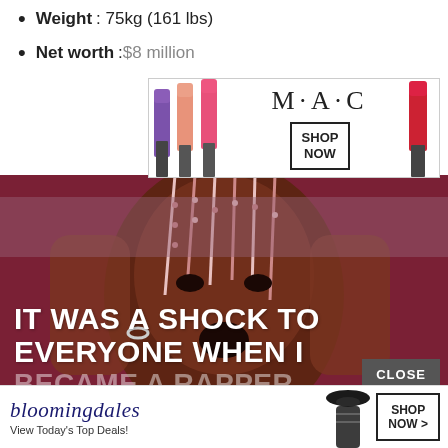Weight: 75kg (161 lbs)
Net worth: $8 million
[Figure (photo): MAC Cosmetics advertisement banner showing lipsticks in purple, peach, pink, and red colors with M·A·C logo and SHOP NOW button]
[Figure (photo): Close-up photo of a rapper with pink braids/cornrows, hands framing face with mouth open in surprised expression, wearing diamond ring, against a dark pink/red background. Text overlay reads: IT WAS A SHOCK TO EVERYONE WHEN I BECAME A RAPPER...]
IT WAS A SHOCK TO EVERYONE WHEN I BECAME A RAPPER...
[Figure (photo): Bloomingdales advertisement showing brand logo, View Today's Top Deals! tagline, fashion model in hat, and SHOP NOW > button]